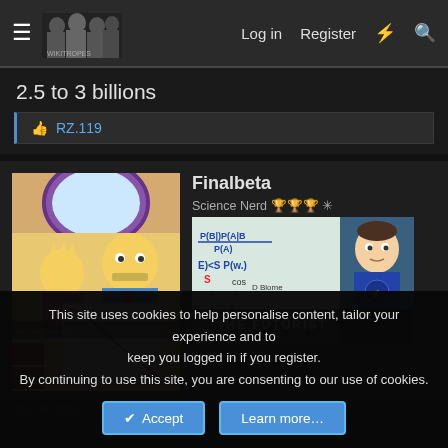Log in  Register
2.5 to 3 billions
👍 RZ.119
Finalbeta
Science Nerd 🏆🏆🏆 ✳
[Figure (screenshot): Simpsons cartoon image showing Homer and Lisa Simpson with a happiness vs intelligence graph showing a downward curve labeled HAPPINESS on y-axis and INTELLIGENCE on x-axis]
[Figure (screenshot): Big Bang Theory screenshot showing Sheldon Cooper in front of a whiteboard with equations P(B|P(A|B), E)<S P(w). Text overlay reads THE FUTURIST]
This site uses cookies to help personalise content, tailor your experience and to keep you logged in if you register. By continuing to use this site, you are consenting to our use of cookies.
✔ Accept   Learn more...